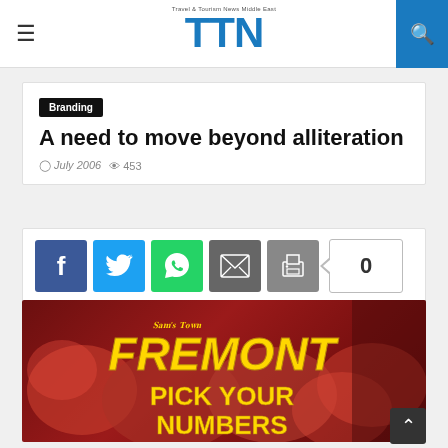TTN - Travel & Tourism News Middle East
Branding
A need to move beyond alliteration
July 2006  453
[Figure (screenshot): Social media share buttons: Facebook, Twitter, WhatsApp, Email, Print, and a count badge showing 0]
[Figure (photo): A colorful casino/gaming themed image showing Fremont 'PICK YOUR NUMBERS' text in yellow on a red decorative background]